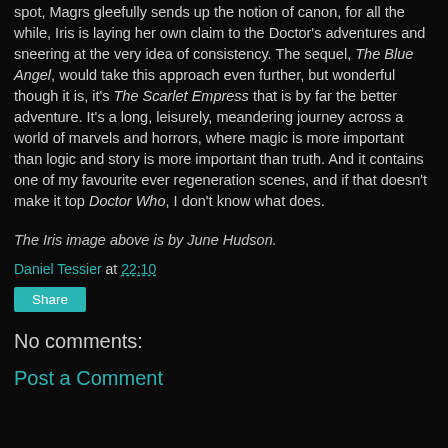spot, Magrs gleefully sends up the notion of canon, for all the while, Iris is laying her own claim to the Doctor's adventures and sneering at the very idea of consistency. The sequel, The Blue Angel, would take this approach even further, but wonderful though it is, it's The Scarlet Empress that is by far the better adventure. It's a long, leisurely, meandering journey across a world of marvels and horrors, where magic is more important than logic and story is more important than truth. And it contains one of my favourite ever regeneration scenes, and if that doesn't make it top Doctor Who, I don't know what does.
The Iris image above is by June Hudson.
Daniel Tessier at 22:10
Share
No comments:
Post a Comment